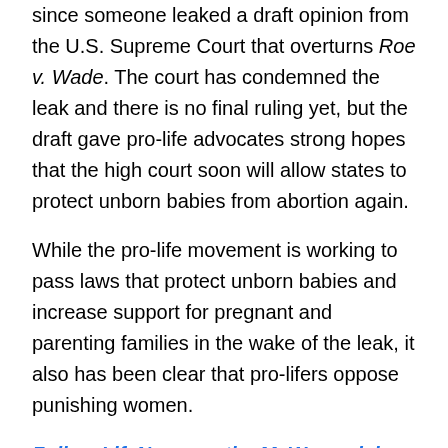since someone leaked a draft opinion from the U.S. Supreme Court that overturns Roe v. Wade. The court has condemned the leak and there is no final ruling yet, but the draft gave pro-life advocates strong hopes that the high court soon will allow states to protect unborn babies from abortion again.
While the pro-life movement is working to pass laws that protect unborn babies and increase support for pregnant and parenting families in the wake of the leak, it also has been clear that pro-lifers oppose punishing women.
Follow LifeNews on the MeWe social media network for the latest pro-life news free from Facebook's censorship!